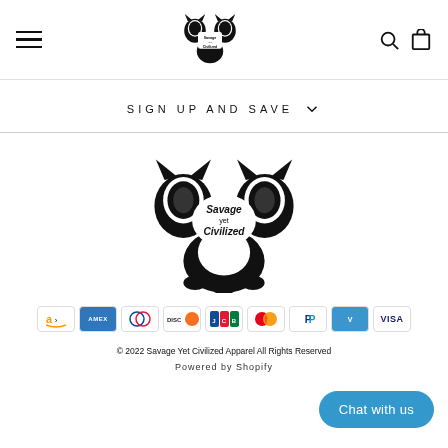[Figure (logo): Savage Yet Civilized Apparel logo in header — two lions with text — black and white]
SIGN UP AND SAVE
[Figure (logo): Savage Yet Civilized Apparel logo centered in page body — larger version]
[Figure (infographic): Row of payment method icons: Amazon, Amex, Diners Club, Discover, JCB, Mastercard, PayPal, Venmo, Visa]
© 2022 Savage Yet Civilized Apparel All Rights Reserved
Powered by Shopify